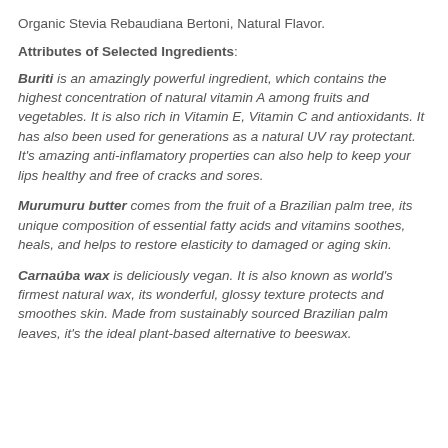Organic Stevia Rebaudiana Bertoni, Natural Flavor.
Attributes of Selected Ingredients:
Buriti is an amazingly powerful ingredient, which contains the highest concentration of natural vitamin A among fruits and vegetables. It is also rich in Vitamin E, Vitamin C and antioxidants. It has also been used for generations as a natural UV ray protectant. It's amazing anti-inflamatory properties can also help to keep your lips healthy and free of cracks and sores.
Murumuru butter comes from the fruit of a Brazilian palm tree, its unique composition of essential fatty acids and vitamins soothes, heals, and helps to restore elasticity to damaged or aging skin.
Carnaúba wax is deliciously vegan. It is also known as world's firmest natural wax, its wonderful, glossy texture protects and smoothes skin. Made from sustainably sourced Brazilian palm leaves, it's the ideal plant-based alternative to beeswax.